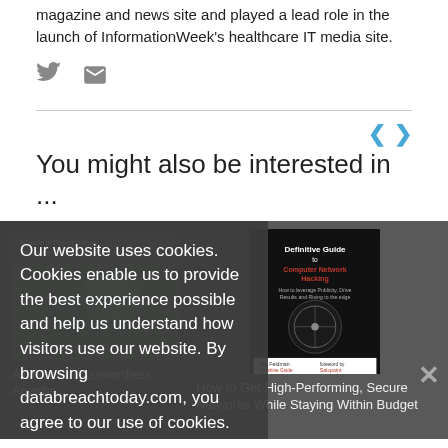magazine and news site and played a lead role in the launch of InformationWeek's healthcare IT media site.
[Figure (other): Twitter and email social icons in grey]
You might also be interested in ...
[Figure (other): Cookie consent overlay with text: Our website uses cookies. Cookies enable us to provide the best experience possible and help us understand how visitors use our website. By browsing databreachtoday.com, you agree to our use of cookies.]
[Figure (other): A Guide to Passwordless Anywhere book cover thumbnail]
A Guide to Passwordless Anywhere
[Figure (other): Definitive Guide book cover (dark cover with compass image)]
How to Get High-Performing, Secure Networks While Staying Within Budget